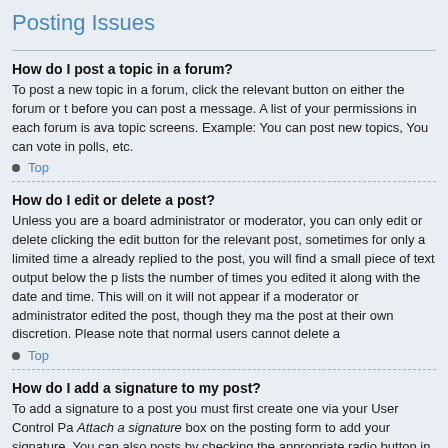Posting Issues
How do I post a topic in a forum?
To post a new topic in a forum, click the relevant button on either the forum or topic screens. Example: You can post new topics, You can vote in polls, etc.
Top
How do I edit or delete a post?
Unless you are a board administrator or moderator, you can only edit or delete clicking the edit button for the relevant post, sometimes for only a limited time after already replied to the post, you will find a small piece of text output below the post lists the number of times you edited it along with the date and time. This will on it will not appear if a moderator or administrator edited the post, though they may the post at their own discretion. Please note that normal users cannot delete a
Top
How do I add a signature to my post?
To add a signature to a post you must first create one via your User Control Pa. Attach a signature box on the posting form to add your signature. You can also posts by checking the appropriate radio button in your profile. If you do so, you added to individual posts by un-checking the add signature box within the posti.
Top
How do I create a poll?